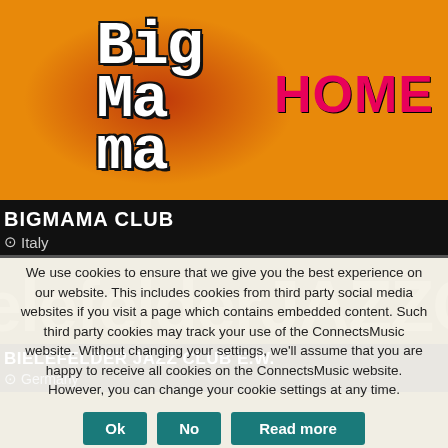[Figure (logo): Big Mama Club logo with orange/red background, pixel-art style text reading 'Big Mama' with a silhouette figure, and 'HOME' in pink/red on the right]
BIGMAMA CLUB
Italy
[Figure (logo): Bielefelder JAZZ Club logo with gold/dark yellow background and large stylized text]
BIELEFELDER JAZZ CLUB E.W.
Germany
We use cookies to ensure that we give you the best experience on our website. This includes cookies from third party social media websites if you visit a page which contains embedded content. Such third party cookies may track your use of the ConnectsMusic website. Without changing your settings, we'll assume that you are happy to receive all cookies on the ConnectsMusic website. However, you can change your cookie settings at any time.
Ok
No
Read more